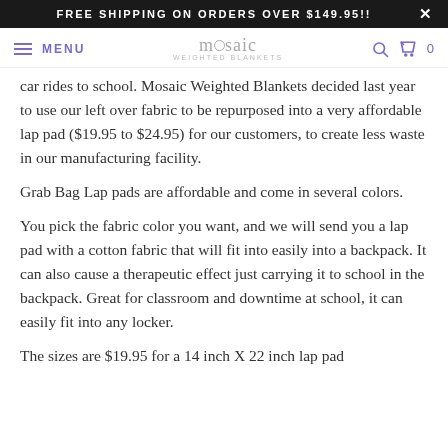FREE SHIPPING ON ORDERS OVER $149.95!!
mosaic WEIGHTED BLANKETS — MENU | Cart 0
car rides to school. Mosaic Weighted Blankets decided last year to use our left over fabric to be repurposed into a very affordable lap pad ($19.95 to $24.95) for our customers, to create less waste in our manufacturing facility.
Grab Bag Lap pads are affordable and come in several colors.
You pick the fabric color you want, and we will send you a lap pad with a cotton fabric that will fit into easily into a backpack. It can also cause a therapeutic effect just carrying it to school in the backpack. Great for classroom and downtime at school, it can easily fit into any locker.
The sizes are $19.95 for a 14 inch X 22 inch lap pad